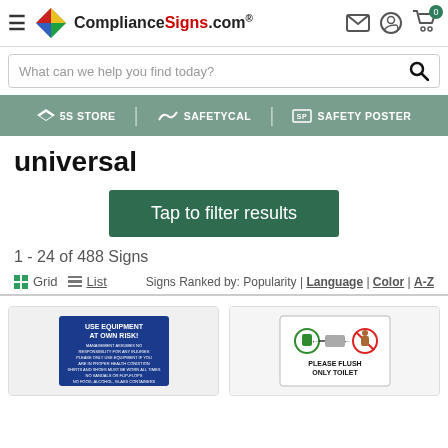ComplianceSigns.com header navigation
What can we help you find today?
[Figure (infographic): Navigation bar with 5S Store, SafetyCal, and Safety Poster logos on teal/sage green background]
universal
Tap to filter results
1 - 24 of 488 Signs
Grid  List  Signs Ranked by: Popularity | Language | Color | A-Z
[Figure (photo): Blue sign reading USE EQUIPMENT AT OWN RISK with safety rules text]
[Figure (photo): White sign with universal icons reading PLEASE FLUSH ONLY TOILET]